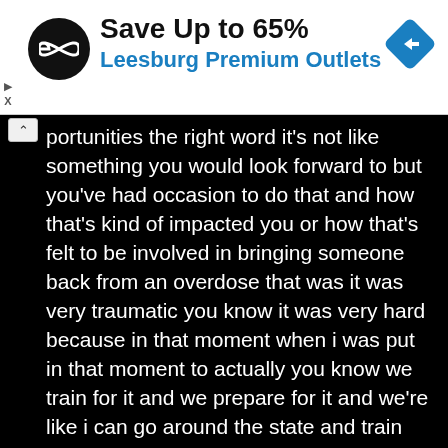[Figure (infographic): Advertisement banner: black circular logo with infinity/loop symbol, bold text 'Save Up to 65%', blue text 'Leesburg Premium Outlets', blue diamond navigation arrow icon on right]
opportunities the right word it's not like something you would look forward to but you've had occasion to do that and how that's kind of impacted you or how that's felt to be involved in bringing someone back from an overdose that was it was very traumatic you know it was very hard because in that moment when i was put in that moment to actually you know we train for it and we prepare for it and we're like i can go around the state and train people how to use it but when you have to use it yourself on someone that person in front of me you know he was not breathing he was blue